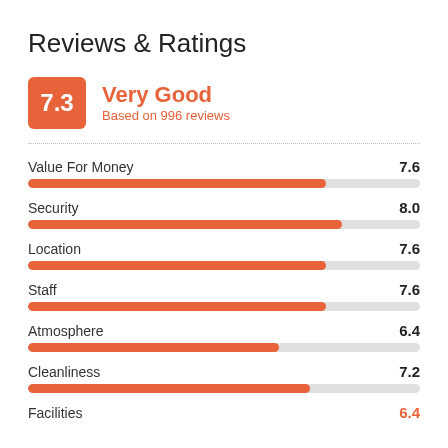Reviews & Ratings
[Figure (infographic): Overall score badge showing 7.3 Very Good based on 996 reviews]
[Figure (bar-chart): Category Ratings]